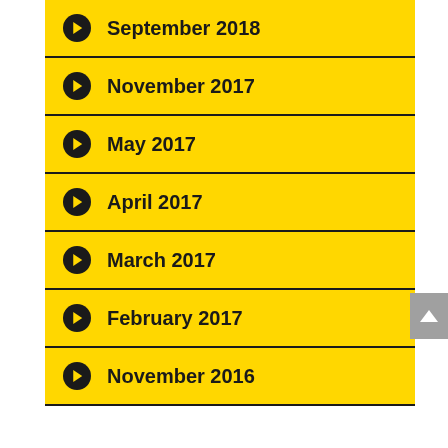September 2018
November 2017
May 2017
April 2017
March 2017
February 2017
November 2016